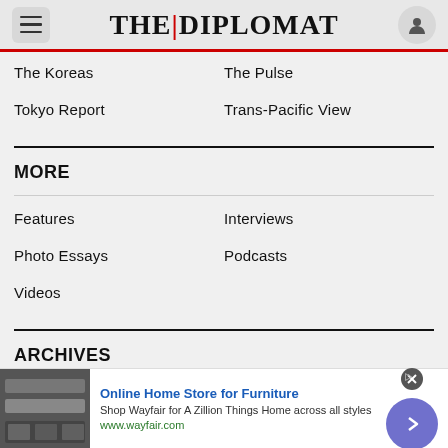THE|DIPLOMAT
The Koreas
The Pulse
Tokyo Report
Trans-Pacific View
MORE
Features
Interviews
Photo Essays
Podcasts
Videos
ARCHIVES
[Figure (infographic): Advertisement banner: Online Home Store for Furniture - Wayfair ad with furniture image, close button, and arrow button]